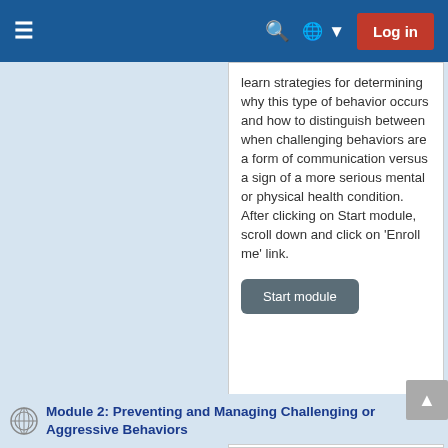Navigation bar with hamburger menu, search, globe/language selector, and Log in button
learn strategies for determining why this type of behavior occurs and how to distinguish between when challenging behaviors are a form of communication versus a sign of a more serious mental or physical health condition. After clicking on Start module, scroll down and click on 'Enroll me' link.
Start module
Module 2: Preventing and Managing Challenging or Aggressive Behaviors